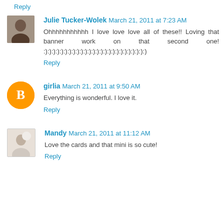Reply
Julie Tucker-Wolek March 21, 2011 at 7:23 AM
Ohhhhhhhhhhh I love love love all of these!! Loving that banner work on that second one! :):):):):):):):):):):):):):):):):):):):):):):):):):)
Reply
girlia March 21, 2011 at 9:50 AM
Everything is wonderful. I love it.
Reply
Mandy March 21, 2011 at 11:12 AM
Love the cards and that mini is so cute!
Reply